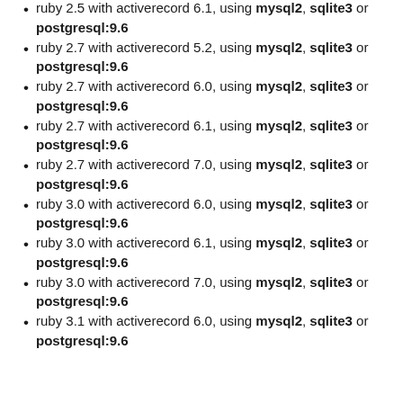ruby 2.5 with activerecord 6.1, using mysql2, sqlite3 or postgresql:9.6
ruby 2.7 with activerecord 5.2, using mysql2, sqlite3 or postgresql:9.6
ruby 2.7 with activerecord 6.0, using mysql2, sqlite3 or postgresql:9.6
ruby 2.7 with activerecord 6.1, using mysql2, sqlite3 or postgresql:9.6
ruby 2.7 with activerecord 7.0, using mysql2, sqlite3 or postgresql:9.6
ruby 3.0 with activerecord 6.0, using mysql2, sqlite3 or postgresql:9.6
ruby 3.0 with activerecord 6.1, using mysql2, sqlite3 or postgresql:9.6
ruby 3.0 with activerecord 7.0, using mysql2, sqlite3 or postgresql:9.6
ruby 3.1 with activerecord 6.0, using mysql2, sqlite3 or postgresql:9.6